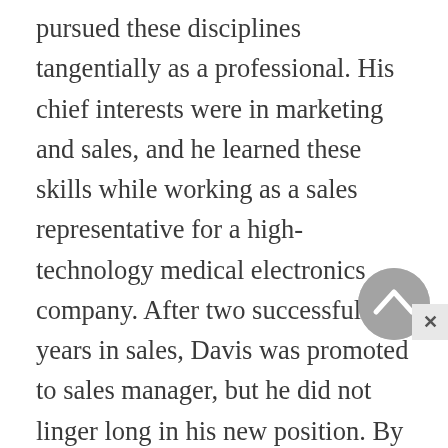pursued these disciplines tangentially as a professional. His chief interests were in marketing and sales, and he learned these skills while working as a sales representative for a high-technology medical electronics company. After two successful years in sales, Davis was promoted to sales manager, but he did not linger long in his new position. By the beginning of the 1970s Davis was ready to fulfill his next dream: owning and managing his own business. A friend of Davis's